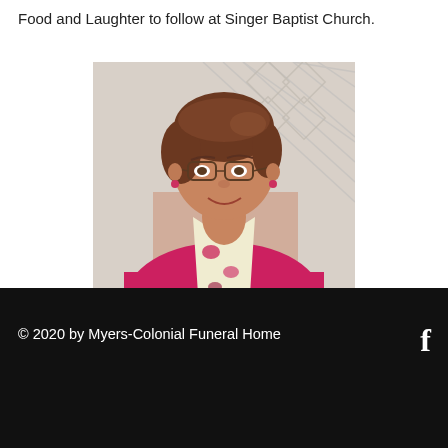Food and Laughter to follow at Singer Baptist Church.
[Figure (photo): Portrait photo of a middle-aged woman with short brown hair and glasses, wearing a bright pink/magenta blouse and a floral scarf, smiling at the camera against a light lattice background.]
© 2020 by Myers-Colonial Funeral Home